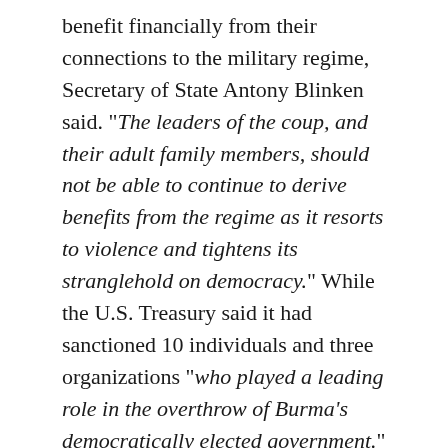benefit financially from their connections to the military regime, Secretary of State Antony Blinken said. "The leaders of the coup, and their adult family members, should not be able to continue to derive benefits from the regime as it resorts to violence and tightens its stranglehold on democracy." While the U.S. Treasury said it had sanctioned 10 individuals and three organizations "who played a leading role in the overthrow of Burma's democratically elected government." The Biden administration grants temporary deportation relief and work permits to the Burmese citizens. Thus about 1,600 Burmese already in the U.S. will be eligible for Temporary Protected Status for 18 months. When the Junta announced that the security forces are exercising "utmost restraint" in dealing with protesters it appears that the junta is asking the world to disbelieve our own eyes was the